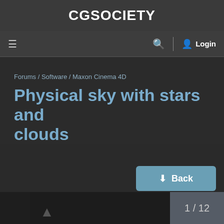CGSOCIETY
≡   🔍  |  👤  Login
Forums / Software / Maxon Cinema 4D
Physical sky with stars and clouds
↓ Back
1 / 12